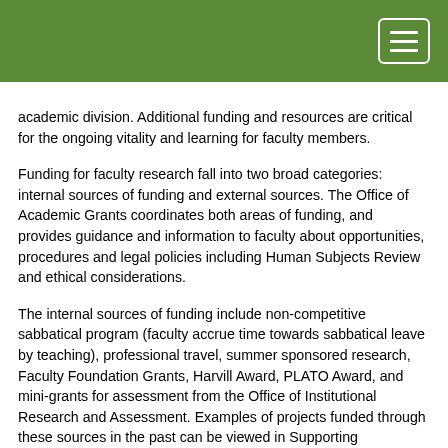academic division. Additional funding and resources are critical for the ongoing vitality and learning for faculty members.
Funding for faculty research fall into two broad categories: internal sources of funding and external sources. The Office of Academic Grants coordinates both areas of funding, and provides guidance and information to faculty about opportunities, procedures and legal policies including Human Subjects Review and ethical considerations.
The internal sources of funding include non-competitive sabbatical program (faculty accrue time towards sabbatical leave by teaching), professional travel, summer sponsored research, Faculty Foundation Grants, Harvill Award, PLATO Award, and mini-grants for assessment from the Office of Institutional Research and Assessment. Examples of projects funded through these sources in the past can be viewed in Supporting Documents for Standard 4